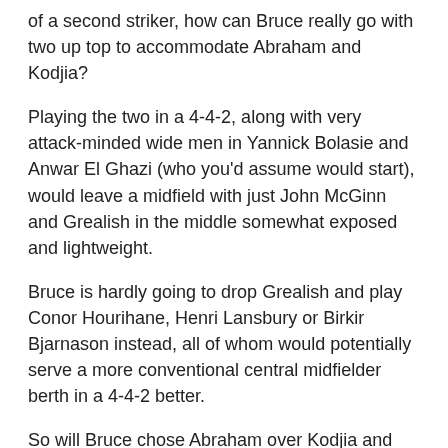of a second striker, how can Bruce really go with two up top to accommodate Abraham and Kodjia?
Playing the two in a 4-4-2, along with very attack-minded wide men in Yannick Bolasie and Anwar El Ghazi (who you'd assume would start), would leave a midfield with just John McGinn and Grealish in the middle somewhat exposed and lightweight.
Bruce is hardly going to drop Grealish and play Conor Hourihane, Henri Lansbury or Birkir Bjarnason instead, all of whom would potentially serve a more conventional central midfielder berth in a 4-4-2 better.
So will Bruce chose Abraham over Kodjia and Scott Hogan, who should be back in the match day squad in two weeks?
Pledge